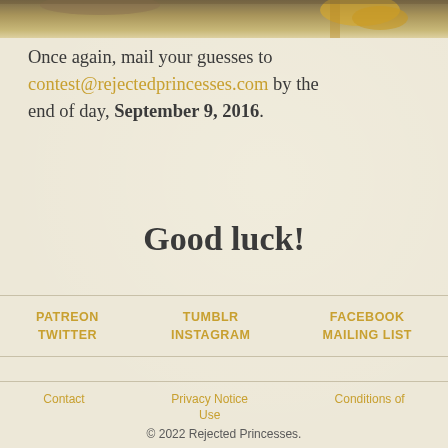[Figure (photo): Decorative top image strip showing ornate golden objects against a painted ceiling background]
Once again, mail your guesses to contest@rejectedprincesses.com by the end of day, September 9, 2016.
Good luck!
PATREON TWITTER TUMBLR INSTAGRAM FACEBOOK MAILING LIST
Contact Privacy Notice Use Conditions of
© 2022 Rejected Princesses.